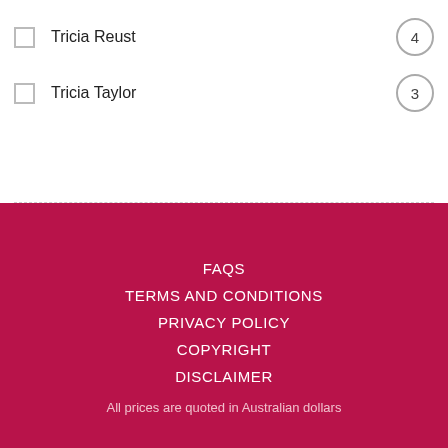Tricia Reust  4
Tricia Taylor  3
FAQS
TERMS AND CONDITIONS
PRIVACY POLICY
COPYRIGHT
DISCLAIMER
All prices are quoted in Australian dollars